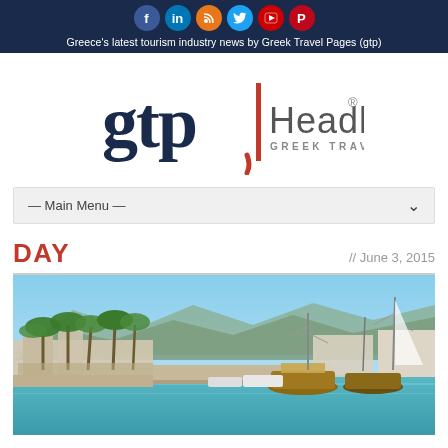Greece's latest tourism industry news by Greek Travel Pages (gtp)
[Figure (logo): GTP Headlines - Greek Travel Pages logo with red vertical bar divider]
— Main Menu —
DAY // June 3, 2015
[Figure (photo): Harbor/marina scene with palm trees, boats and yachts docked, mountains in background, clear blue sky - likely a Greek coastal town]